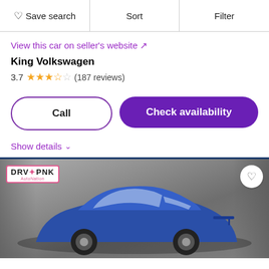♡ Save search | Sort | Filter
View this car on seller's website ↗
King Volkswagen
3.7 ★★★½☆ (187 reviews)
Call
Check availability
Show details ∨
[Figure (photo): Blue sports car photographed against a gray concrete wall background, with a DRV PNK AutoNation badge in the upper left corner and a heart/save icon in the upper right corner.]